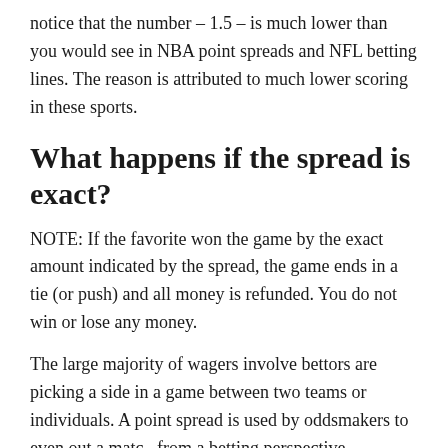notice that the number – 1.5 – is much lower than you would see in NBA point spreads and NFL betting lines. The reason is attributed to much lower scoring in these sports.
What happens if the spread is exact?
NOTE: If the favorite won the game by the exact amount indicated by the spread, the game ends in a tie (or push) and all money is refunded. You do not win or lose any money.
The large majority of wagers involve bettors are picking a side in a game between two teams or individuals. A point spread is used by oddsmakers to even out a match from a betting perspective, assigning more or fewer points to a team's final score. In order to win a point